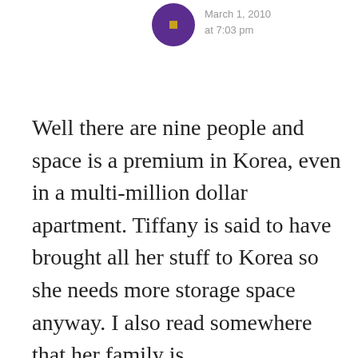[Figure (illustration): A circular avatar icon with purple background and a gold/yellow cross or plus symbol in the center]
March 1, 2010
at 7:03 pm
Well there are nine people and space is a premium in Korea, even in a multi-million dollar apartment. Tiffany is said to have brought all her stuff to Korea so she needs more storage space anyway. I also read somewhere that her family is